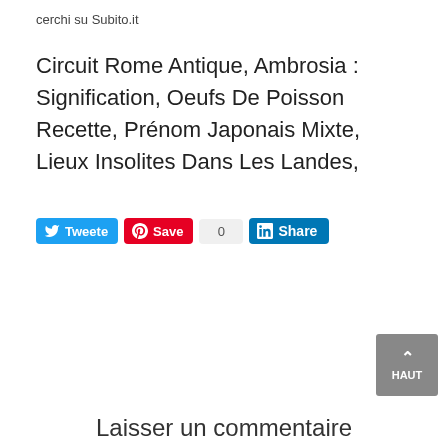cerchi su Subito.it
Circuit Rome Antique, Ambrosia : Signification, Oeufs De Poisson Recette, Prénom Japonais Mixte, Lieux Insolites Dans Les Landes,
[Figure (infographic): Social sharing buttons: Tweet (blue Twitter button), Save (red Pinterest button), 0 count badge, Share (blue LinkedIn button)]
[Figure (infographic): Back to top button with upward arrow and text HAUT on grey square background]
Laisser un commentaire